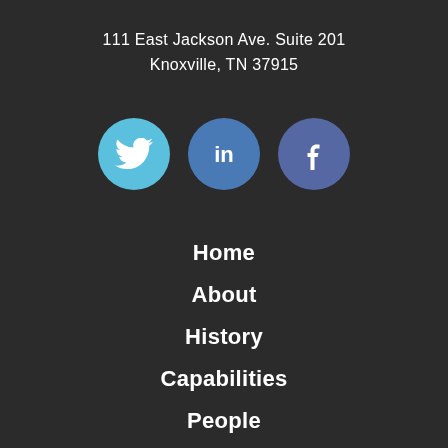111 East Jackson Ave. Suite 201
Knoxville, TN 37915
[Figure (illustration): Three social media icon circles: Twitter (light blue), LinkedIn (medium blue), Facebook (dark blue/purple)]
Home
About
History
Capabilities
People
Careers
Research